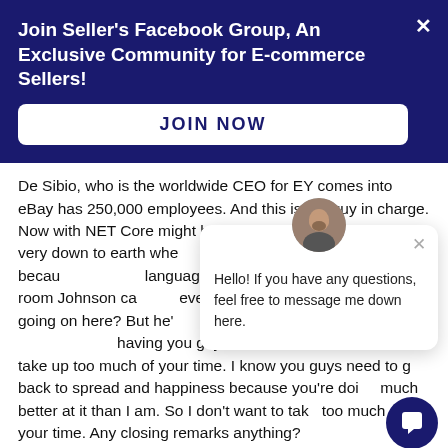Join Seller's Facebook Group, An Exclusive Community for E-commerce Sellers!
JOIN NOW
De Sibio, who is the worldwide CEO for EY comes into eBay has 250,000 employees. And this is the guy in charge. Now with NET Core might be for him. He's a very nice guy very down to earth when he enters the room, you know, because the body language changes. Everyone in Is the room Johnson can see everybody around the room, what's going on here? But he's humble, you know? It's amazing. Thank you for having you guys on the show. I don't want to take up too much of your time. I know you guys need to go back to spread and happiness because you're doing much better at it than I am. So I don't want to take too much of your time. Any closing remarks anything?
Hello! If you have any questions, feel free to message me down here.